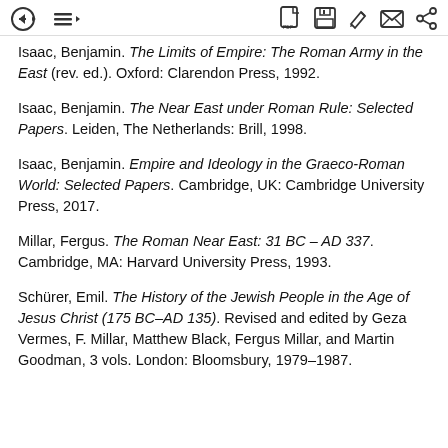toolbar with navigation and action icons
Isaac, Benjamin. The Limits of Empire: The Roman Army in the East (rev. ed.). Oxford: Clarendon Press, 1992.
Isaac, Benjamin. The Near East under Roman Rule: Selected Papers. Leiden, The Netherlands: Brill, 1998.
Isaac, Benjamin. Empire and Ideology in the Graeco-Roman World: Selected Papers. Cambridge, UK: Cambridge University Press, 2017.
Millar, Fergus. The Roman Near East: 31 BC – AD 337. Cambridge, MA: Harvard University Press, 1993.
Schürer, Emil. The History of the Jewish People in the Age of Jesus Christ (175 BC–AD 135). Revised and edited by Geza Vermes, F. Millar, Matthew Black, Fergus Millar, and Martin Goodman, 3 vols. London: Bloomsbury, 1979–1987.